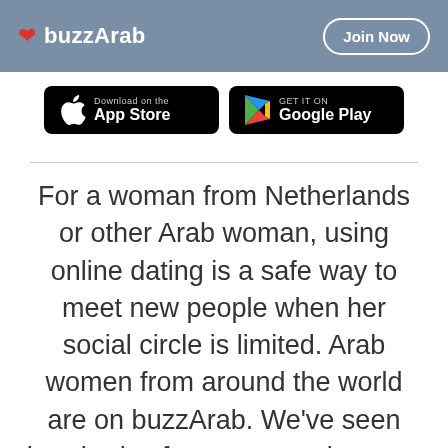buzzArab | Join Now
[Figure (screenshot): App Store download button (black rounded rectangle with Apple logo and 'Download on the App Store' text)]
[Figure (screenshot): Google Play download button (black rounded rectangle with Play logo and 'GET IT ON Google Play' text)]
For a woman from Netherlands or other Arab woman, using online dating is a safe way to meet new people when her social circle is limited. Arab women from around the world are on buzzArab. We've seen hundreds of success stories over the years we've operated, why